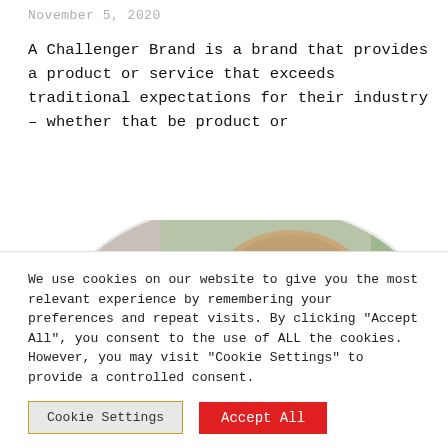November 5, 2020
A Challenger Brand is a brand that provides a product or service that exceeds traditional expectations for their industry – whether that be product or
[Figure (photo): A pug dog wearing red glasses, shown in a rounded/oval-cropped photo with a soft background]
We use cookies on our website to give you the most relevant experience by remembering your preferences and repeat visits. By clicking "Accept All", you consent to the use of ALL the cookies. However, you may visit "Cookie Settings" to provide a controlled consent.